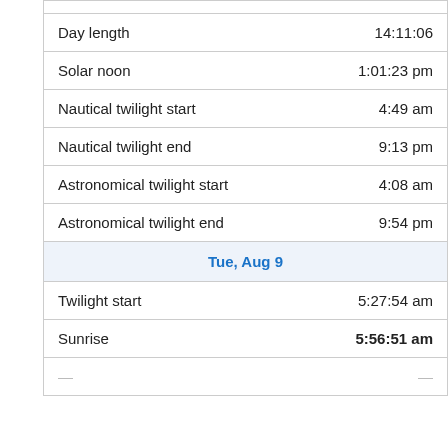|  |  |
| --- | --- |
| Day length | 14:11:06 |
| Solar noon | 1:01:23 pm |
| Nautical twilight start | 4:49 am |
| Nautical twilight end | 9:13 pm |
| Astronomical twilight start | 4:08 am |
| Astronomical twilight end | 9:54 pm |
| Tue, Aug 9 |  |
| Twilight start | 5:27:54 am |
| Sunrise | 5:56:51 am |
| ... | ... |